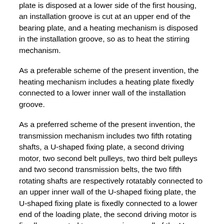plate is disposed at a lower side of the first housing, an installation groove is cut at an upper end of the bearing plate, and a heating mechanism is disposed in the installation groove, so as to heat the stirring mechanism.
As a preferable scheme of the present invention, the heating mechanism includes a heating plate fixedly connected to a lower inner wall of the installation groove.
As a preferred scheme of the present invention, the transmission mechanism includes two fifth rotating shafts, a U-shaped fixing plate, a second driving motor, two second belt pulleys, two third belt pulleys and two second transmission belts, the two fifth rotating shafts are respectively rotatably connected to an upper inner wall of the U-shaped fixing plate, the U-shaped fixing plate is fixedly connected to a lower end of the loading plate, the second driving motor is fixedly connected to an upper inner wall of the U-shaped fixing plate, an output end of the second driving motor is rotatably connected to a lower end of the loading plate, both the two second belt pulleys are fixedly connected to an output end surface of the second driving motor, the two third belt pulleys are respectively fixedly connected to surfaces of the two fifth rotating